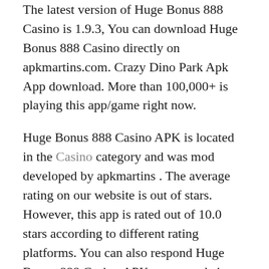The latest version of Huge Bonus 888 Casino is 1.9.3, You can download Huge Bonus 888 Casino directly on apkmartins.com. Crazy Dino Park Apk App download. More than 100,000+ is playing this app/game right now.
Huge Bonus 888 Casino APK is located in the Casino category and was mod developed by apkmartins . The average rating on our website is out of stars. However, this app is rated out of 10.0 stars according to different rating platforms. You can also respond Huge Bonus 888 Casino APK on our website so that our users can get a better idea of the application. If you want to know more about Huge Bonus 888 Casino APK, you can visit the official developer website for more information. The average rating is